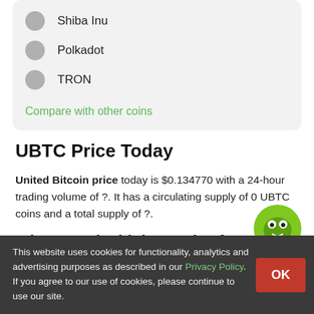Shiba Inu
Polkadot
TRON
Compare with other coins
UBTC Price Today
United Bitcoin price today is $0.134770 with a 24-hour trading volume of ?. It has a circulating supply of 0 UBTC coins and a total supply of ?.
What was the highest price for United Bitcoin?
United Bitcoin hit an all time high of $492.97 on Dec 21, 2017 (over 4 years).
This website uses cookies for functionality, analytics and advertising purposes as described in our Privacy Policy. If you agree to our use of cookies, please continue to use our site.